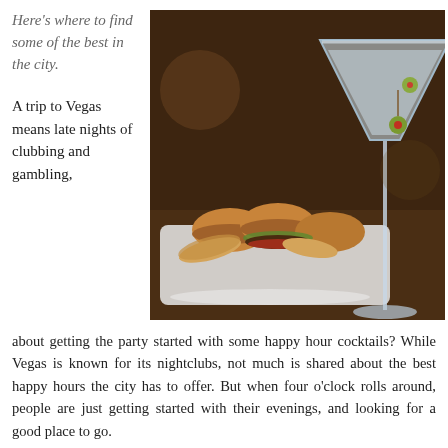Here's where to find some of the best in the city.
[Figure (photo): A martini glass with olives next to a plate of mini sliders/burgers with chips on a dark wooden surface.]
A trip to Vegas means late nights of clubbing and gambling, but what about getting the party started with some happy hour cocktails? While Vegas is known for its nightclubs, not much is shared about the best happy hours the city has to offer. But when four o'clock rolls around, people are just getting started with their evenings, and looking for a good place to go.